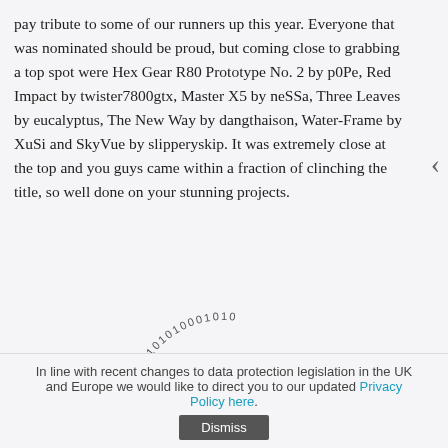pay tribute to some of our runners up this year. Everyone that was nominated should be proud, but coming close to grabbing a top spot were Hex Gear R80 Prototype No. 2 by p0Pe, Red Impact by twister7800gtx, Master X5 by neSSa, Three Leaves by eucalyptus, The New Way by dangthaison, Water-Frame by XuSi and SkyVue by slipperyskip. It was extremely close at the top and you guys came within a fraction of clinching the title, so well done on your stunning projects.
[Figure (logo): A semicircular logo with a dark purple dome/umbrella shape and binary digits (0s and 1s) arranged in an arc above it, forming a stylized digital umbrella or dome icon.]
Click to enlarge
In line with recent changes to data protection legislation in the UK and Europe we would like to direct you to our updated Privacy Policy here.